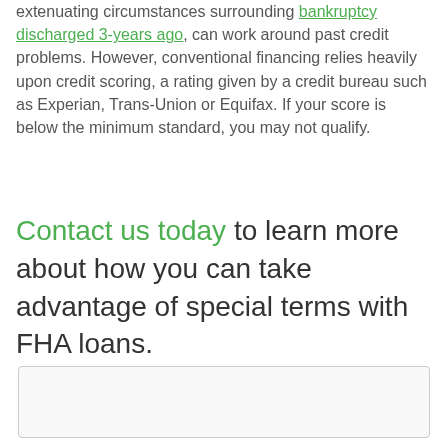extenuating circumstances surrounding bankruptcy discharged 3-years ago, can work around past credit problems. However, conventional financing relies heavily upon credit scoring, a rating given by a credit bureau such as Experian, Trans-Union or Equifax. If your score is below the minimum standard, you may not qualify.
Contact us today to learn more about how you can take advantage of special terms with FHA loans.
[Figure (other): Empty rounded-rectangle box at the bottom of the page]